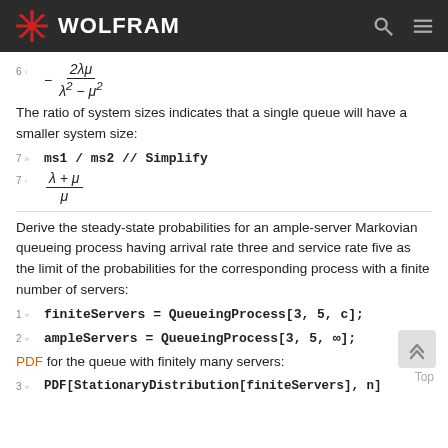WOLFRAM
The ratio of system sizes indicates that a single queue will have a smaller system size:
Derive the steady-state probabilities for an ample-server Markovian queueing process having arrival rate three and service rate five as the limit of the probabilities for the corresponding process with a finite number of servers:
PDF for the queue with finitely many servers: